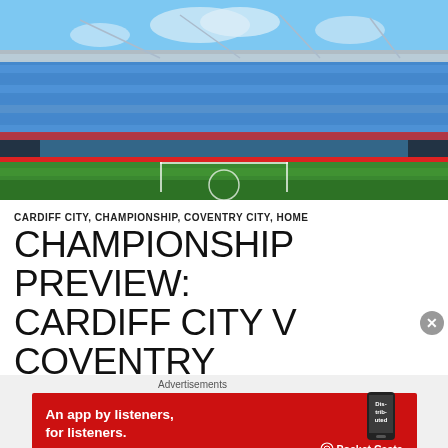[Figure (photo): Interior view of a football stadium with blue seats spelling out text, green pitch visible in foreground, roof structure and blue sky visible above]
CARDIFF CITY, CHAMPIONSHIP, COVENTRY CITY, HOME
CHAMPIONSHIP PREVIEW: CARDIFF CITY V COVENTRY
[Figure (infographic): Pocket Casts advertisement banner: 'An app by listeners, for listeners.' on red background with Pocket Casts logo and phone graphic]